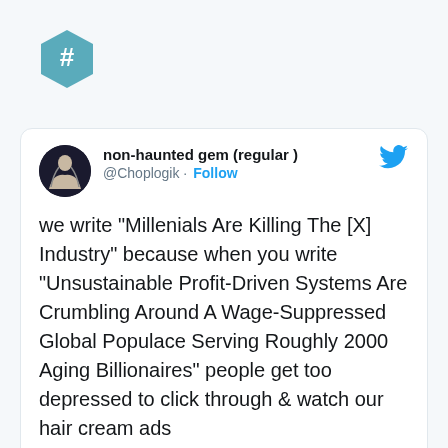[Figure (logo): Teal hexagon shape with a white hash/pound sign (#) in the center]
non-haunted gem (regular )
@Choplogik · Follow
we write "Millenials Are Killing The [X] Industry" because when you write "Unsustainable Profit-Driven Systems Are Crumbling Around A Wage-Suppressed Global Populace Serving Roughly 2000 Aging Billionaires" people get too depressed to click through & watch our hair cream ads
7:07 AM · Apr 5, 2019